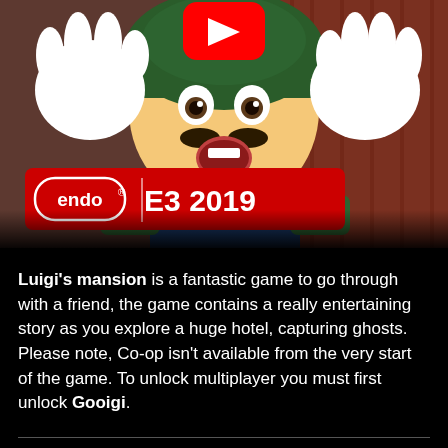[Figure (screenshot): YouTube video thumbnail showing Luigi from Luigi's Mansion 3 with a scared expression, hands up, mouth open. A red YouTube play button icon is visible at the top center. A red Nintendo E3 2019 banner overlays the lower portion of the image.]
Luigi's mansion is a fantastic game to go through with a friend, the game contains a really entertaining story as you explore a huge hotel, capturing ghosts. Please note, Co-op isn't available from the very start of the game. To unlock multiplayer you must first unlock Gooigi.